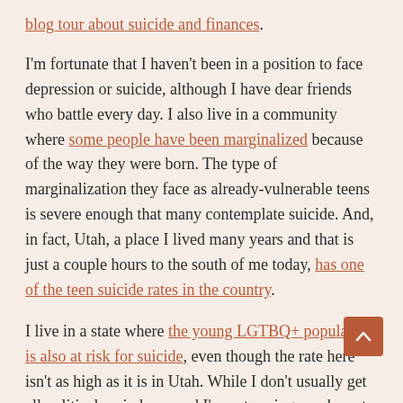blog tour about suicide and finances.
I'm fortunate that I haven't been in a position to face depression or suicide, although I have dear friends who battle every day. I also live in a community where some people have been marginalized because of the way they were born. The type of marginalization they face as already-vulnerable teens is severe enough that many contemplate suicide. And, in fact, Utah, a place I lived many years and that is just a couple hours to the south of me today, has one of the teen suicide rates in the country.
I live in a state where the young LGTBQ+ population is also at risk for suicide, even though the rate here isn't as high as it is in Utah. While I don't usually get all political up in here, and I'm not saying you have to care about such things (although I think that care and concern for our fellow humans are important), it does make sense to think about